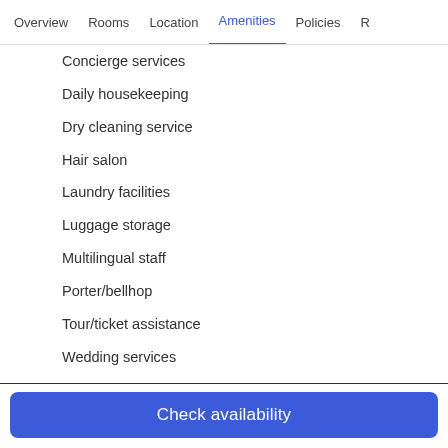Overview  Rooms  Location  Amenities  Policies  R
Concierge services
Daily housekeeping
Dry cleaning service
Hair salon
Laundry facilities
Luggage storage
Multilingual staff
Porter/bellhop
Tour/ticket assistance
Wedding services
Business services
Business center
Computer station
Check availability